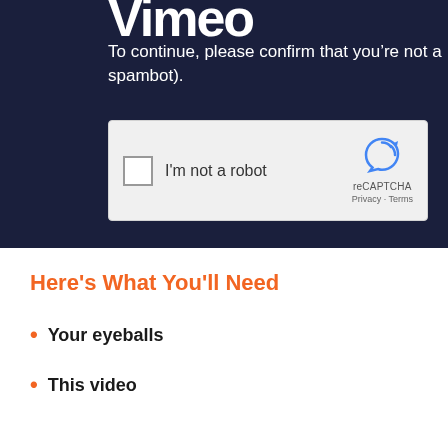[Figure (screenshot): Vimeo website screenshot showing a dark navy blue header area with partial Vimeo logo text visible at the top, followed by text 'To continue, please confirm that you're not a spambot).' and a reCAPTCHA widget with checkbox labeled 'I'm not a robot' and the reCAPTCHA branding with Privacy and Terms links.]
Here's What You'll Need
Your eyeballs
This video